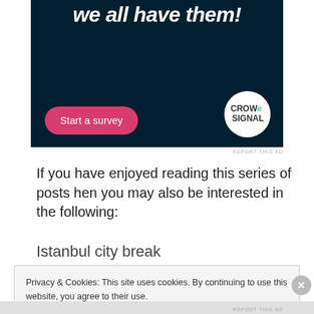[Figure (screenshot): Dark navy advertisement banner showing 'we all have them!' text in white italic font, a pink 'Start a survey' button, and a white circular CrowdSignal logo on the right.]
REPORT THIS AD
If you have enjoyed reading this series of posts hen you may also be interested in the following:
Istanbul city break
Privacy & Cookies: This site uses cookies. By continuing to use this website, you agree to their use.
To find out more, including how to control cookies, see here: Privacy Policy
Close and accept
REPORT THIS AD